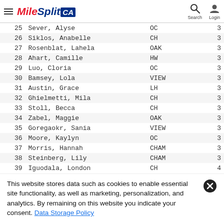MileSplit CA
| # | Name | Team | Score |
| --- | --- | --- | --- |
| 25 | Sever, Alyse | OC | 3 |
| 26 | Siklos, Anabelle | CH | 3 |
| 27 | Rosenblat, Lahela | OAK | 3 |
| 28 | Ahart, Camille | HW | 3 |
| 29 | Luo, Cloria | OC | 3 |
| 30 | Bamsey, Lola | VIEW | 3 |
| 31 | Austin, Grace | LH | 3 |
| 32 | Ghielmetti, Mila | CH | 3 |
| 33 | Stoll, Becca | CH | 3 |
| 34 | Zabel, Maggie | OAK | 3 |
| 35 | Goregaokr, Sania | VIEW | 3 |
| 36 | Moore, Kaylyn | OC | 3 |
| 37 | Morris, Hannah | CHAM | 3 |
| 38 | Steinberg, Lily | CHAM | 3 |
| 39 | Iguodala, London | CH | 4 |
This website stores data such as cookies to enable essential site functionality, as well as marketing, personalization, and analytics. By remaining on this website you indicate your consent. Data Storage Policy